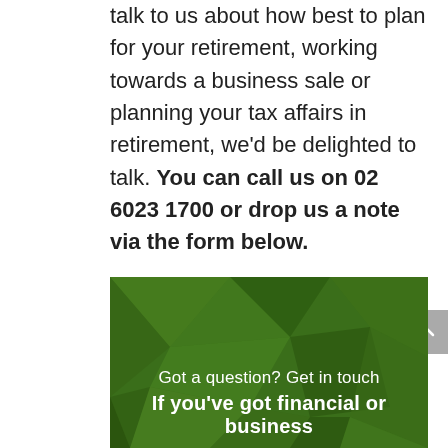talk to us about how best to plan for your retirement, working towards a business sale or planning your tax affairs in retirement, we'd be delighted to talk. You can call us on 02 6023 1700 or drop us a note via the form below.
[Figure (illustration): Green geometric low-poly background banner]
Got a question? Get in touch
If you've got financial or business